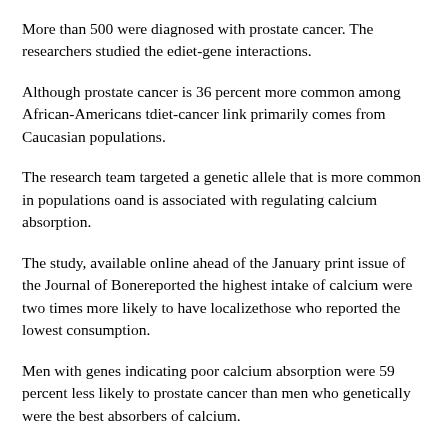More than 500 were diagnosed with prostate cancer. The researchers studied the effect of diet-gene interactions.
Although prostate cancer is 36 percent more common among African-Americans than whites, the diet-cancer link primarily comes from Caucasian populations.
The research team targeted a genetic allele that is more common in populations of African descent and is associated with regulating calcium absorption.
The study, available online ahead of the January print issue of the Journal of Bone and Mineral Research, reported the highest intake of calcium were two times more likely to have localized prostate cancer than those who reported the lowest consumption.
Men with genes indicating poor calcium absorption were 59 percent less likely to develop localized prostate cancer than men who genetically were the best absorbers of calcium.
Source: UPI